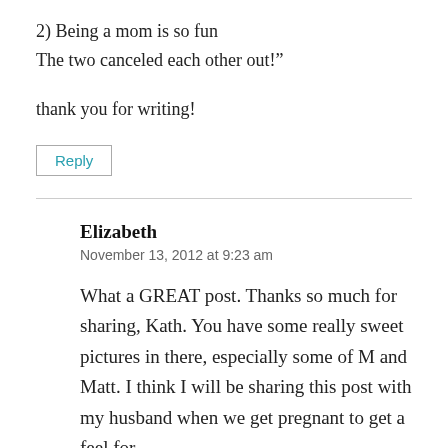2) Being a mom is so fun
The two canceled each other out!”
thank you for writing!
Reply
Elizabeth
November 13, 2012 at 9:23 am
What a GREAT post. Thanks so much for sharing, Kath. You have some really sweet pictures in there, especially some of M and Matt. I think I will be sharing this post with my husband when we get pregnant to get a feel for